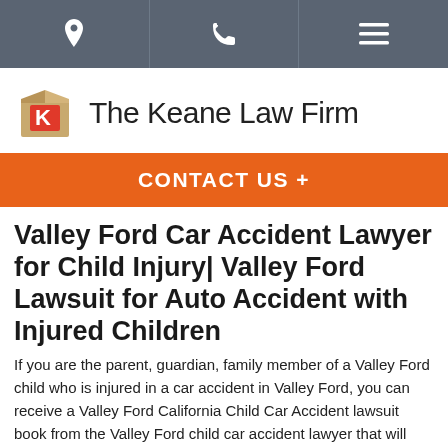Navigation bar with location, phone, and menu icons
[Figure (logo): The Keane Law Firm logo with a box icon containing a red K]
CONTACT US +
Valley Ford Car Accident Lawyer for Child Injury| Valley Ford Lawsuit for Auto Accident with Injured Children
If you are the parent, guardian, family member of a Valley Ford child who is injured in a car accident in Valley Ford, you can receive a Valley Ford California Child Car Accident lawsuit book from the Valley Ford child car accident lawyer that will help you understand your child's rights in Valley Ford child car accident lawsuits and settlements.